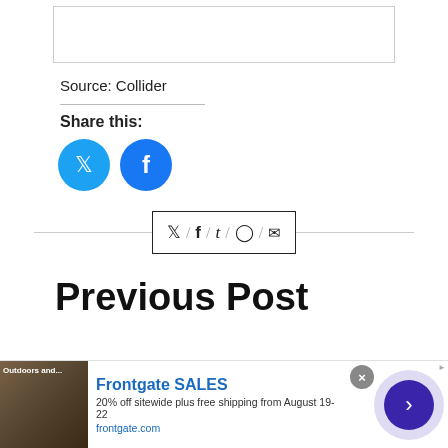[Figure (other): Blank image placeholder box]
Source: Collider
Share this:
[Figure (other): Twitter and Facebook circular social share buttons]
[Figure (other): Social share icon bar with Twitter, Facebook, Tumblr, Pinterest, and email icons separated by slashes]
Previous Post
[Figure (other): Advertisement banner: Frontgate SALES - 20% off sitewide plus free shipping from August 19-22, frontgate.com]